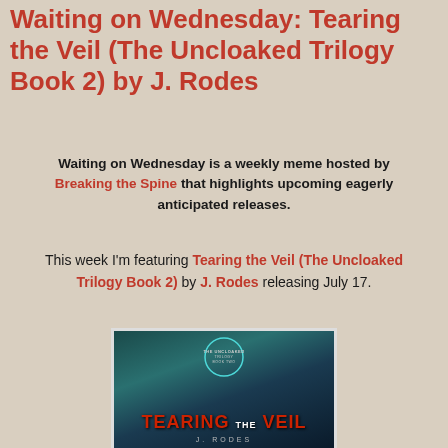Waiting on Wednesday: Tearing the Veil (The Uncloaked Trilogy Book 2) by J. Rodes
Waiting on Wednesday is a weekly meme hosted by Breaking the Spine that highlights upcoming eagerly anticipated releases.
This week I'm featuring Tearing the Veil (The Uncloaked Trilogy Book 2) by J. Rodes releasing July 17.
[Figure (illustration): Book cover for Tearing the Veil (The Uncloaked Trilogy Book 2) by J. Rodes. Dark teal/blue background with a glowing circle logo at top reading THE UNCLOAKED TRILOGY BOOK TWO. Large red text TEARING THE VEIL with THE in smaller white text between. Author name J. RODES at bottom in grey.]